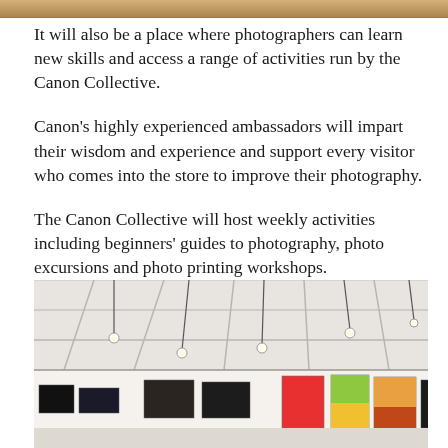[Figure (photo): Top portion of an image, cropped — shows a warm wooden or amber-toned surface]
It will also be a place where photographers can learn new skills and access a range of activities run by the Canon Collective.
Canon's highly experienced ambassadors will impart their wisdom and experience and support every visitor who comes into the store to improve their photography.
The Canon Collective will host weekly activities including beginners' guides to photography, photo excursions and photo printing workshops.
[Figure (photo): Interior of a bright gallery space with white walls and ceiling grid with hanging pendant lights. Colorful artworks and photographs hang along the walls.]